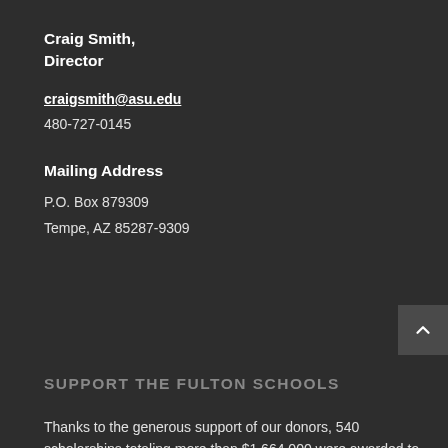Craig Smith,
Director
craigsmith@asu.edu
480-727-0145
Mailing Address
P.O. Box 879309
Tempe, AZ 85287-9309
SUPPORT THE FULTON SCHOOLS
Thanks to the generous support of our donors, 540 scholarships totaling more than $1,664,000 were awarded to Ira A. Fulton Schools of Engineering undergraduate